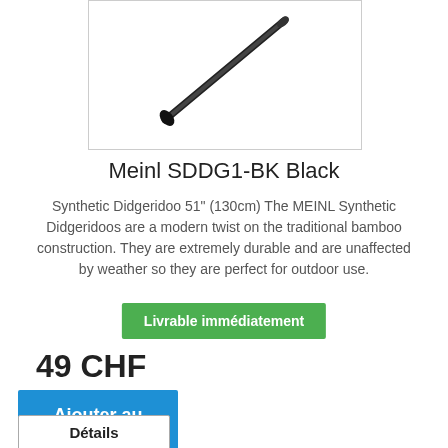[Figure (photo): Photo of Meinl SDDG1-BK Black synthetic didgeridoo, a long thin black instrument shown diagonally against white background]
Meinl SDDG1-BK Black
Synthetic Didgeridoo 51" (130cm) The MEINL Synthetic Didgeridoos are a modern twist on the traditional bamboo construction. They are extremely durable and are unaffected by weather so they are perfect for outdoor use.
Livrable immédiatement
49 CHF
Ajouter au panier
Détails